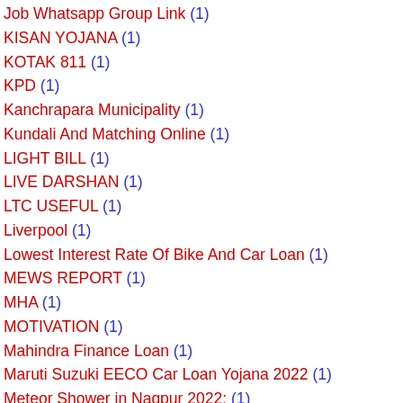Job Whatsapp Group Link (1)
KISAN YOJANA (1)
KOTAK 811 (1)
KPD (1)
Kanchrapara Municipality (1)
Kundali And Matching Online (1)
LIGHT BILL (1)
LIVE DARSHAN (1)
LTC USEFUL (1)
Liverpool (1)
Lowest Interest Rate Of Bike And Car Loan (1)
MEWS REPORT (1)
MHA (1)
MOTIVATION (1)
Mahindra Finance Loan (1)
Maruti Suzuki EECO Car Loan Yojana 2022 (1)
Meteor Shower in Nagpur 2022: (1)
Microsoft to retire Internet Explorer: Why Microsoft has decided to shut down web browser after 27 years? (1)